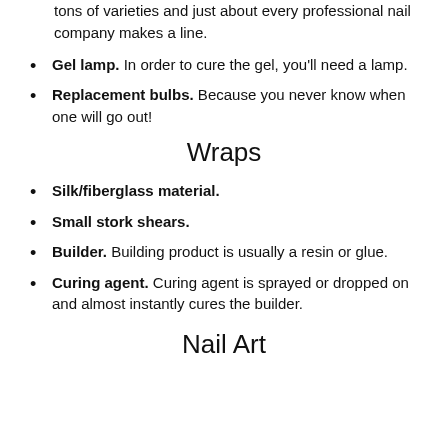tons of varieties and just about every professional nail company makes a line.
Gel lamp. In order to cure the gel, you'll need a lamp.
Replacement bulbs. Because you never know when one will go out!
Wraps
Silk/fiberglass material.
Small stork shears.
Builder. Building product is usually a resin or glue.
Curing agent. Curing agent is sprayed or dropped on and almost instantly cures the builder.
Nail Art